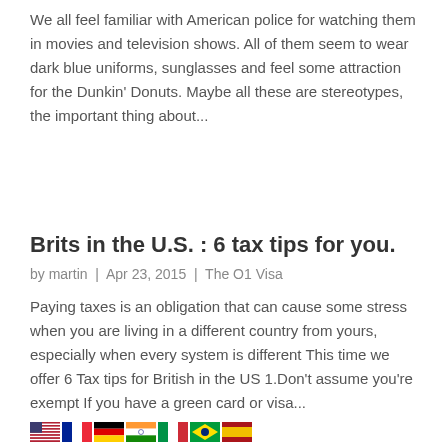We all feel familiar with American police for watching them in movies and television shows. All of them seem to wear dark blue uniforms, sunglasses and feel some attraction for the Dunkin' Donuts. Maybe all these are stereotypes, the important thing about...
Brits in the U.S. : 6 tax tips for you.
by martin | Apr 23, 2015 | The O1 Visa
Paying taxes is an obligation that can cause some stress when you are living in a different country from yours, especially when every system is different This time we offer 6 Tax tips for British in the US 1.Don't assume you're exempt If you have a green card or visa...
[Figure (illustration): Row of country flag icons: USA, France, Germany, India, Italy, Brazil, Spain]